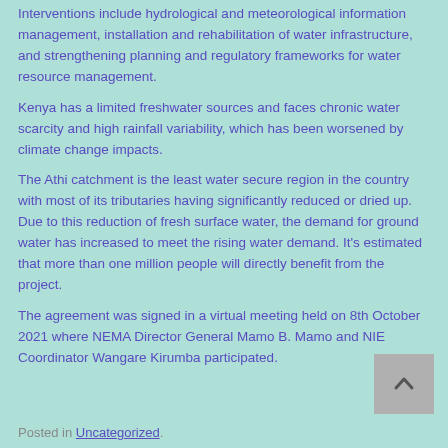Interventions include hydrological and meteorological information management, installation and rehabilitation of water infrastructure, and strengthening planning and regulatory frameworks for water resource management.
Kenya has a limited freshwater sources and faces chronic water scarcity and high rainfall variability, which has been worsened by climate change impacts.
The Athi catchment is the least water secure region in the country with most of its tributaries having significantly reduced or dried up. Due to this reduction of fresh surface water, the demand for ground water has increased to meet the rising water demand. It's estimated that more than one million people will directly benefit from the project.
The agreement was signed in a virtual meeting held on 8th October 2021 where NEMA Director General Mamo B. Mamo and NIE Coordinator Wangare Kirumba participated.
Posted in Uncategorized.